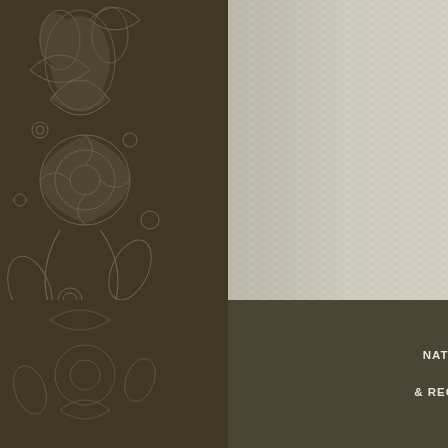[Figure (illustration): Dark brown panel with intricate white floral/paisley decorative pattern on the left side of the page]
[Figure (illustration): Center gradient chevron/herringbone textured background panel in beige/taupe tones]
Before the Re... Washington a...
8  General C... Papers)
Alexander Ha... obeyed as suc... (New York, 1... 1777, are pri...
9  George W...
Morristown [... H, George Wa... was a prisone...
10  George W...
Morristown [... of two Virgin...
NATIONAL HISTORICAL PUBLICATIONS & RECORDS COMMISSION
The National Historical P... NHPRC supports a wide... the United States, and res...